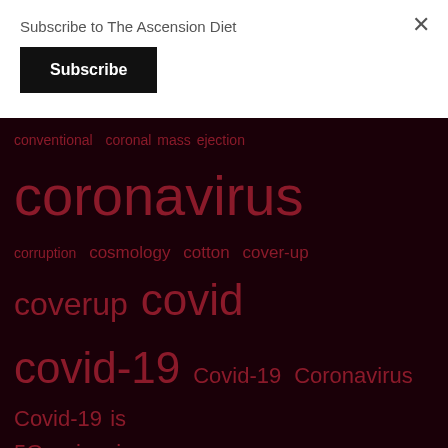Subscribe to The Ascension Diet
Subscribe
conventional coronal mass ejection coronavirus corruption cosmology cotton cover-up coverup covid covid-19 Covid-19 Coronavirus Covid-19 is 5G poisoning Covid-19 lie Covid is a Trojan Horse CPTSD CPTSD - A Way Out craft crafted narrative Creation CREATOR creutzfeldt-jakob crimes against humanity crispr crop circle crossing crucifixion crusades cymatics damage Danaan Dann DARPA Darwinian Chemical Systems Darwinian Chemical Systems was MODERNA'S initial name and started by Fauci who was